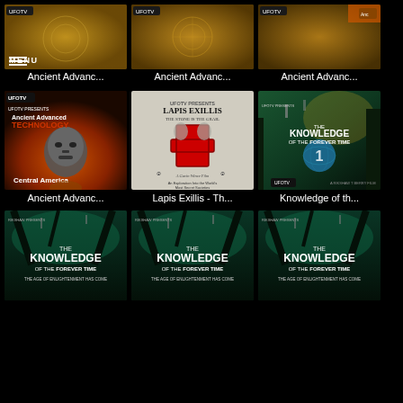[Figure (screenshot): App grid showing documentary movie thumbnails on a dark background. Row 1: Three 'Ancient Advanc...' thumbnails with UFOTV branding and orange/gold designs, with a MENU label overlay. Row 2: 'Ancient Advanced Technology - Central America' movie poster, 'Lapis Exillis - The Stone is the Grail' poster with red Templar cross, 'Knowledge of the Forever Time' poster. Row 3: Three 'Knowledge of the Forever Time' posters with teal/green underwater imagery.]